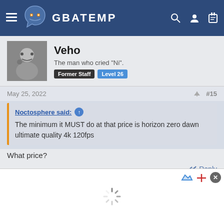GBATEMP
Veho
The man who cried "Ni".
Former Staff  Level 26
May 25, 2022  #15
Noctosphere said: ↑
The minimum it MUST do at that price is horizon zero dawn ultimate quality 4k 120fps
What price?
↩ Reply
Noctosphere